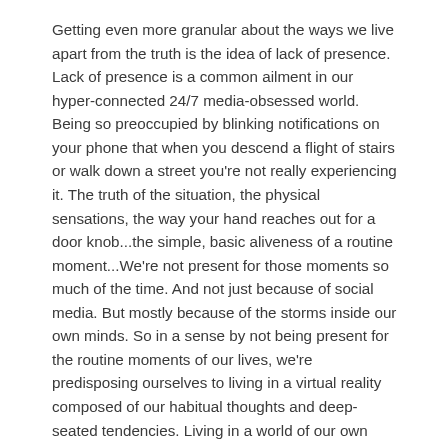Getting even more granular about the ways we live apart from the truth is the idea of lack of presence. Lack of presence is a common ailment in our hyper-connected 24/7 media-obsessed world. Being so preoccupied by blinking notifications on your phone that when you descend a flight of stairs or walk down a street you're not really experiencing it. The truth of the situation, the physical sensations, the way your hand reaches out for a door knob...the simple, basic aliveness of a routine moment...We're not present for those moments so much of the time. And not just because of social media. But mostly because of the storms inside our own minds. So in a sense by not being present for the routine moments of our lives, we're predisposing ourselves to living in a virtual reality composed of our habitual thoughts and deep-seated tendencies. Living in a world of our own personal alternative facts. And you could say that to the extent that we're present, landed in the actuality of the here and now, is the extent to which we are living truthfully.